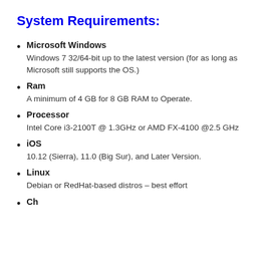System Requirements:
Microsoft Windows
Windows 7 32/64-bit up to the latest version (for as long as Microsoft still supports the OS.)
Ram
A minimum of 4 GB for 8 GB RAM to Operate.
Processor
Intel Core i3-2100T @ 1.3GHz or AMD FX-4100 @2.5 GHz
iOS
10.12 (Sierra), 11.0 (Big Sur), and Later Version.
Linux
Debian or RedHat-based distros – best effort
Ch…